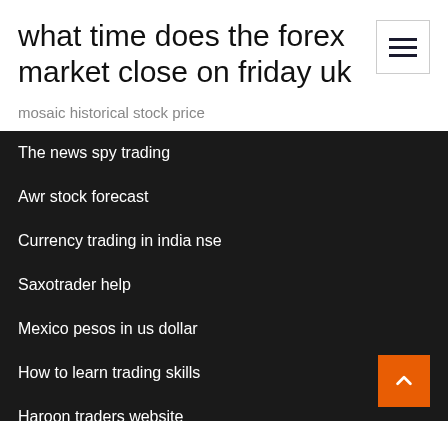what time does the forex market close on friday uk
mosaic historical stock price
The news spy trading
Awr stock forecast
Currency trading in india nse
Saxotrader help
Mexico pesos in us dollar
How to learn trading skills
Haroon traders website
Coin exchange rate calculator